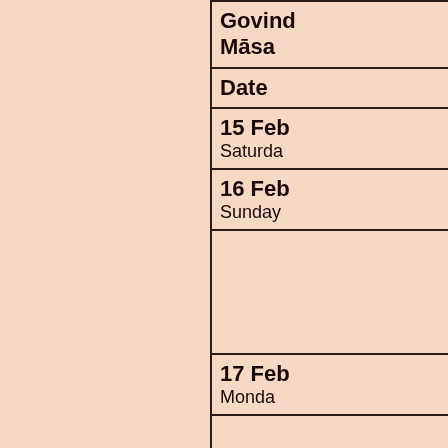| Govind Māsa / Date |
| --- |
| Date |
| 15 Feb
Saturday |
| 16 Feb
Sunday |
| (empty) |
| 17 Feb
Monday |
| (empty) |
| 18 Feb |